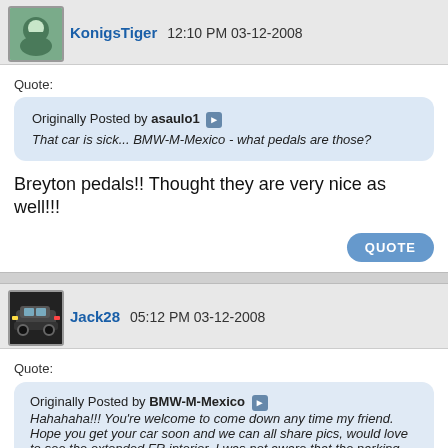KonigsTiger 12:10 PM 03-12-2008
Quote:
Originally Posted by asaulo1
That car is sick... BMW-M-Mexico - what pedals are those?
Breyton pedals!! Thought they are very nice as well!!!
QUOTE
Jack28 05:12 PM 03-12-2008
Quote:
Originally Posted by BMW-M-Mexico
Hahahaha!!! You're welcome to come down any time my friend. Hope you get your car soon and we can all share pics, would love to see the extended FR interior. I was not aware that the parking distance control was not available in the US. Who is this? It's really very neat